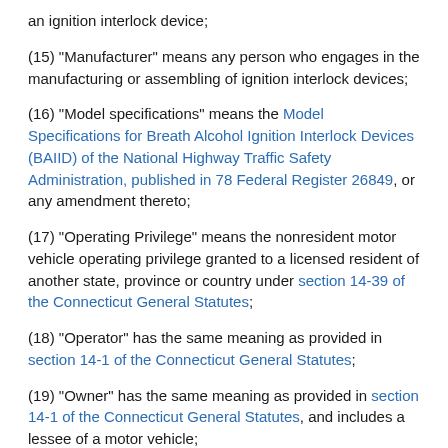an ignition interlock device;
(15) "Manufacturer" means any person who engages in the manufacturing or assembling of ignition interlock devices;
(16) "Model specifications" means the Model Specifications for Breath Alcohol Ignition Interlock Devices (BAIID) of the National Highway Traffic Safety Administration, published in 78 Federal Register 26849, or any amendment thereto;
(17) "Operating Privilege" means the nonresident motor vehicle operating privilege granted to a licensed resident of another state, province or country under section 14-39 of the Connecticut General Statutes;
(18) "Operator" has the same meaning as provided in section 14-1 of the Connecticut General Statutes;
(19) "Owner" has the same meaning as provided in section 14-1 of the Connecticut General Statutes, and includes a lessee of a motor vehicle;